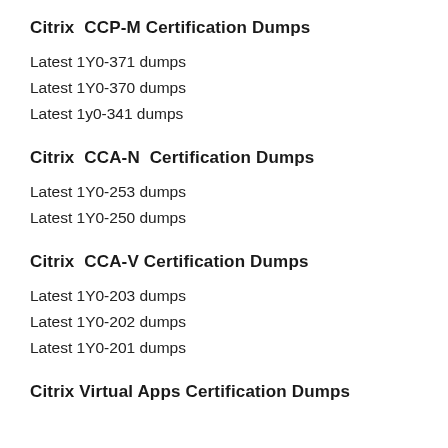Citrix  CCP-M Certification Dumps
Latest 1Y0-371 dumps
Latest 1Y0-370 dumps
Latest 1y0-341 dumps
Citrix  CCA-N  Certification Dumps
Latest 1Y0-253 dumps
Latest 1Y0-250 dumps
Citrix  CCA-V Certification Dumps
Latest 1Y0-203 dumps
Latest 1Y0-202 dumps
Latest 1Y0-201 dumps
Citrix Virtual Apps Certification Dumps